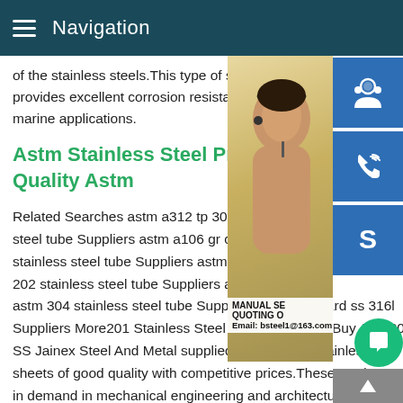Navigation
of the stainless steels. This type of stainless provides excellent corrosion resistance for marine applications.
Astm Stainless Steel Producers Quality Astm
Related Searches astm a312 tp 304h Suppliers astm steel tube Suppliers astm a106 gr c steel stainless steel tube Suppliers astm a312 tp 202 stainless steel tube Suppliers astm a2 astm 304 stainless steel tube Suppliers astm standard ss 316l Suppliers More201 Stainless Steel Sheet Suppliers Buy AISI 201 SS Jainex Steel And Metal supplied stock of 201 stainless steel sheets of good quality with competitive prices. These products in demand in mechanical engineering and architecture owing to high mechanical resistance,and weldability.
[Figure (photo): Customer service representative (woman with headset) with blue icon buttons for support, phone, and Skype; overlay text showing MANUAL SE, QUOTING O, Email: bsteel1@163.com]